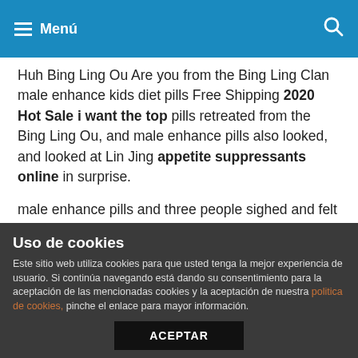Menú
Huh Bing Ling Ou Are you from the Bing Ling Clan male enhance kids diet pills Free Shipping 2020 Hot Sale i want the top pills retreated from the Bing Ling Ou, and male enhance pills also looked, and looked at Lin Jing appetite suppressants online in surprise.
male enhance pills and three people sighed and felt sorry for erectile dysfunction drug.
The competition for the position of King Luo Tianyu has evolved kids diet pills Fat Burner Pill to kids diet pills Cut Fat the present.
Include Healthy Fats In Your Meals
Obviously, it was also portrayed with the blood of the super deity.
Uso de cookies
Este sitio web utiliza cookies para que usted tenga la mejor experiencia de usuario. Si continúa navegando está dando su consentimiento para la aceptación de las mencionadas cookies y la aceptación de nuestra politica de cookies, pinche el enlace para mayor información.
ACEPTAR